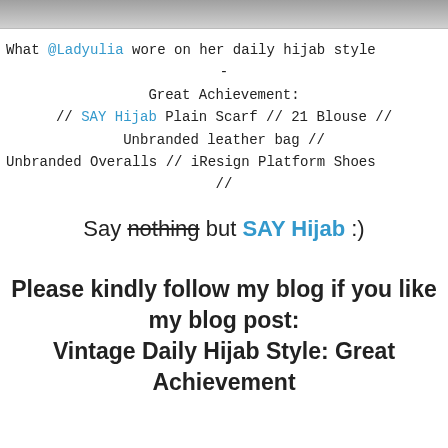[Figure (photo): Partial top image strip showing a fashion/hijab style photo, cropped at top of page]
What @Ladyulia wore on her daily hijab style -
Great Achievement:
// SAY Hijab Plain Scarf // 21 Blouse //
Unbranded leather bag //
Unbranded Overalls // iResign Platform Shoes
//
Say nothing but SAY Hijab :)
Please kindly follow my blog if you like my blog post:
Vintage Daily Hijab Style: Great Achievement